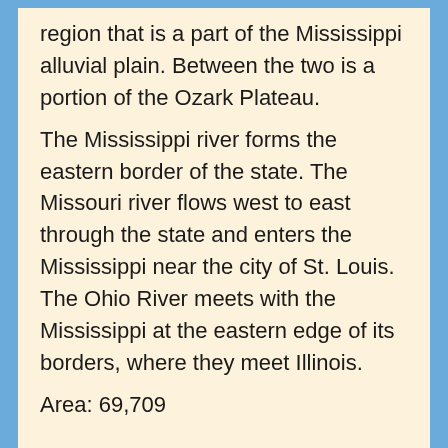region that is a part of the Mississippi alluvial plain. Between the two is a portion of the Ozark Plateau. The Mississippi river forms the eastern border of the state. The Missouri river flows west to east through the state and enters the Mississippi near the city of St. Louis. The Ohio River meets with the Mississippi at the eastern edge of its borders, where they meet Illinois.
Area: 69,709
Area rank: 21st
Population: 6,063,589